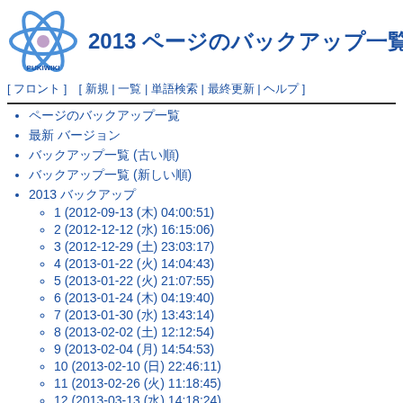[Figure (logo): PukiWiki logo - blue atom/orbital symbol with pink center and PUKIWIKI text below]
2013 ページのバックアップ一覧(No.27)
[ フロント ] [ 新規 | 一覧 | 単語検索 | 最終更新 | ヘルプ ]
ページのバックアップ一覧
最新 バージョン
バックアップ一覧 (古い順)
バックアップ一覧 (新しい順)
2013 バックアップ
1 (2012-09-13 (木) 04:00:51)
2 (2012-12-12 (水) 16:15:06)
3 (2012-12-29 (土) 23:03:17)
4 (2013-01-22 (火) 14:04:43)
5 (2013-01-22 (火) 21:07:55)
6 (2013-01-24 (木) 04:19:40)
7 (2013-01-30 (水) 13:43:14)
8 (2013-02-02 (土) 12:12:54)
9 (2013-02-04 (月) 14:54:53)
10 (2013-02-10 (日) 22:46:11)
11 (2013-02-26 (火) 11:18:45)
12 (2013-03-13 (水) 14:18:24)